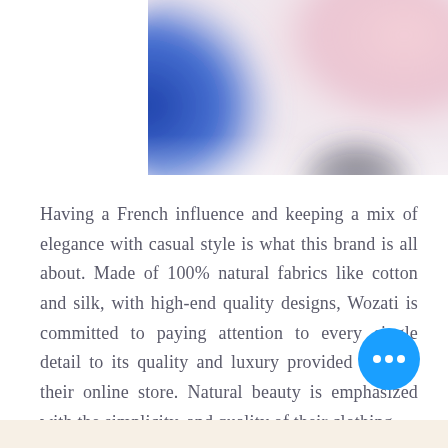[Figure (photo): Blurred close-up photo with blue, pink, and dark tones — partial view of a face or clothing item. Cropped at the bottom, positioned in the upper-right area of the page.]
Having a French influence and keeping a mix of elegance with casual style is what this brand is all about. Made of 100% natural fabrics like cotton and silk, with high-end quality designs, Wozati is committed to paying attention to every single detail to its quality and luxury provided through their online store. Natural beauty is emphasized with the simplicity, and quality of their clothing.